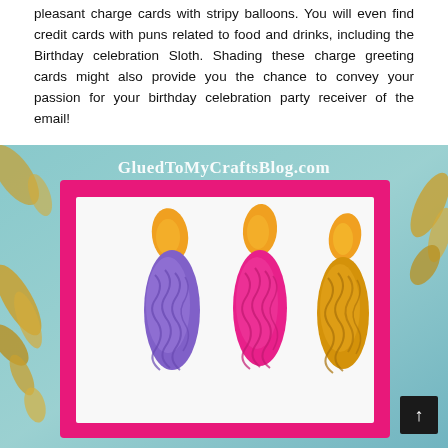pleasant charge cards with stripy balloons. You will even find credit cards with puns related to food and drinks, including the Birthday celebration Sloth. Shading these charge greeting cards might also provide you the chance to convey your passion for your birthday celebration party receiver of the email!
[Figure (photo): A crafts blog image from GluedToMyCraftsBlog.com showing a handmade birthday card with three fingerprint candles — purple, pink/magenta, and yellow/gold — with orange flame shapes on top, on a white card with a pink border, set against a teal and gold leaf background.]